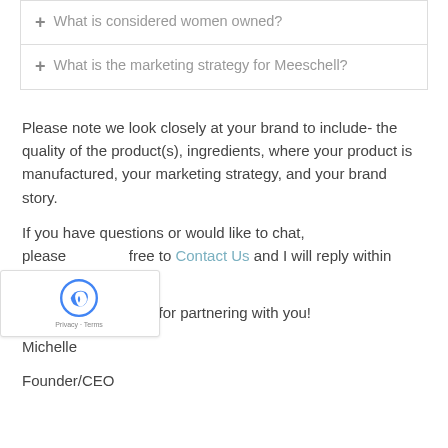+ What is considered women owned?
+ What is the marketing strategy for Meeschell?
Please note we look closely at your brand to include- the quality of the product(s), ingredients, where your product is manufactured, your marketing strategy, and your brand story.
If you have questions or would like to chat, please feel free to Contact Us and I will reply within 24 hours.
Thank you! We look for partnering with you!
Michelle
Founder/CEO